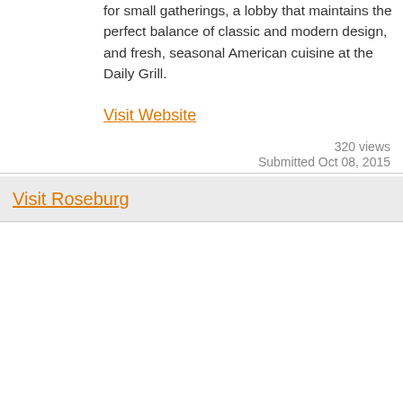for small gatherings, a lobby that maintains the perfect balance of classic and modern design, and fresh, seasonal American cuisine at the Daily Grill.
Visit Website
320 views
Submitted Oct 08, 2015
Visit Roseburg
[Figure (screenshot): Thumbnail image for Roseburg Chamber of Commerce listing showing a green and outdoor scene with circular app icons below]
Roseburg Chamber of Commerce
Visit Website
421 views
Submitted Feb 26, 2010, edited Feb 27, 2020